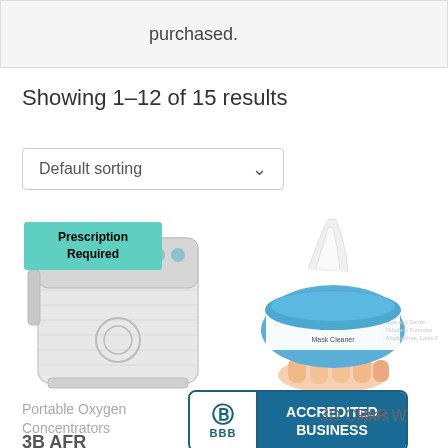purchased.
Showing 1–12 of 15 results
Default sorting
[Figure (photo): Portable oxygen concentrator device with mesh body, white/grey color, with prescription required badge overlay]
[Figure (photo): Hand holding a package of CPAP wipes with blue packaging, white wipes pulled out from top]
Portable Oxygen Concentrators
3B AFR
[Figure (logo): BBB Accredited Business badge with blue background and white text]
3D CPAP Wipes